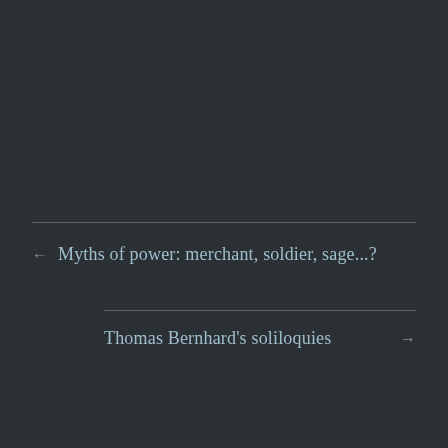← Myths of power: merchant, soldier, sage...?
Thomas Bernhard's soliloquies →